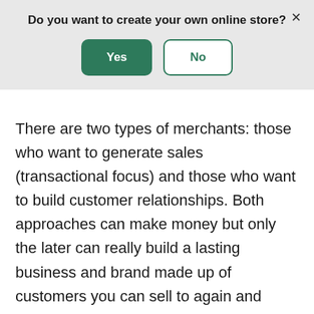Do you want to create your own online store?
[Figure (screenshot): Dialog box with Yes and No buttons and an X close button on a grey background]
There are two types of merchants: those who want to generate sales (transactional focus) and those who want to build customer relationships. Both approaches can make money but only the later can really build a lasting business and brand made up of customers you can sell to again and again—and who hopefully will refer more customers to you. The Shopping tab could work for you either way, but your approach will dictate how aggressive you can be in your bidding and